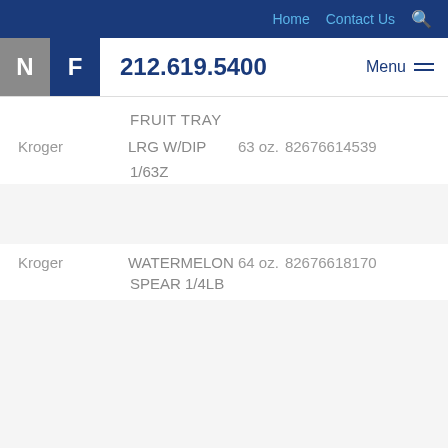Home  Contact Us  🔍
N F  212.619.5400  Menu
FRUIT TRAY
Kroger  LRG W/DIP  63 oz.  82676614539
1/63Z
WATERMELON SPEAR 1/4LB
Kroger  64 oz.  82676618170